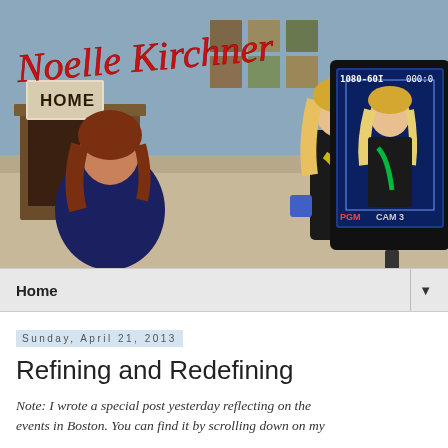[Figure (photo): TV studio scene showing two women sitting and talking. A camera monitor in the foreground displays '1080-60I' and 'CAM 3', showing a blonde woman on screen. The 'Noelle Kirchner' logo in red cursive script appears overlaid at the top left of the photo.]
Home
Sunday, April 21, 2013
Refining and Redefining
Note:  I wrote a special post yesterday reflecting on the events in Boston.  You can find it by scrolling down on my